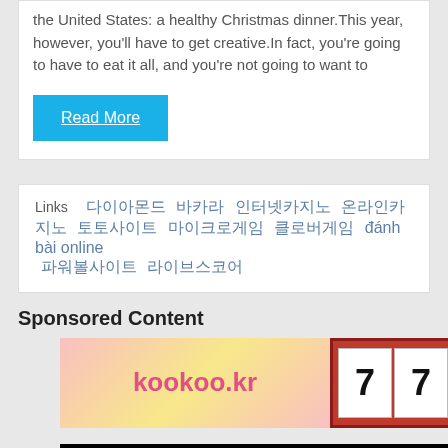the United States: a healthy Christmas dinner.This year, however, you'll have to get creative.In fact, you're going to have to eat it all, and you're not going to want to
Read More
Links  다이아몬드 바카라 인터넷카지노 온라인카지노 토토사이트 마이크로게임 클로버게임 đánh bài online 파워볼사이트 라이브스코어
Sponsored Content
[Figure (screenshot): kookoo.kr 777 casino advertisement banner]
[Figure (screenshot): RIDER CASINO advertisement banner with dark background and gold text]